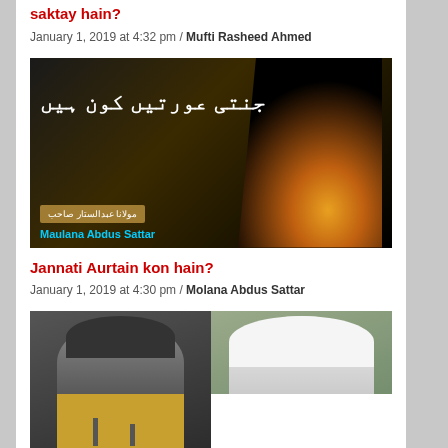saktay hain?
January 1, 2019 at 4:32 pm / Mufti Rasheed Ahmed
[Figure (photo): Thumbnail image for Jannati Aurtain kon hain? showing Urdu text and silhouette with Maulana Abdus Sattar branding]
Jannati Aurtain kon hain?
January 1, 2019 at 4:30 pm / Molana Abdus Sattar
[Figure (photo): Thumbnail image showing two Islamic scholars with Urdu text on green banner and Mufti Tariq Masood label]